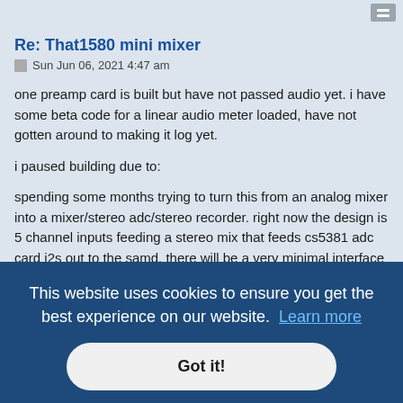Re: That1580 mini mixer
Sun Jun 06, 2021 4:47 am
one preamp card is built but have not passed audio yet. i have some beta code for a linear audio meter loaded, have not gotten around to making it log yet.
i paused building due to:
spending some months trying to turn this from an analog mixer into a mixer/stereo adc/stereo recorder. right now the design is 5 channel inputs feeding a stereo mix that feeds cs5381 adc card i2s out to the samd. there will be a very minimal interface for stopping and stopping recording at fixed rate 24/96k. the new motherboard will have a microsd slot, samd21 to hopefully handle the i2s stream. schematic attached. it's not really in ... ked and ... ked into
version. another etter to keep things differential all the way to the adc but that means a new iteration of the channel cards and squeezing more traces in to the
This website uses cookies to ensure you get the best experience on our website.  Learn more
Got it!